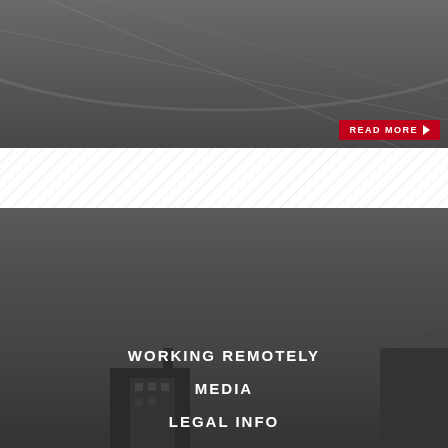[Figure (photo): Top section showing architectural/building photo with diagonal pattern]
READ MORE ▶
[Figure (other): Hatched diagonal lines pattern section (white background with diagonal lines)]
[Figure (photo): Dark grey background photo of city buildings at dusk/night]
WORKING REMOTELY
MEDIA
LEGAL INFO